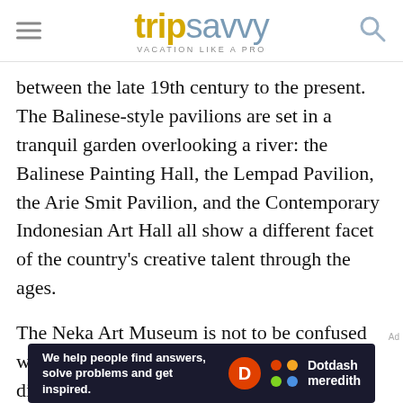tripsavvy VACATION LIKE A PRO
between the late 19th century to the present. The Balinese-style pavilions are set in a tranquil garden overlooking a river: the Balinese Painting Hall, the Lempad Pavilion, the Arie Smit Pavilion, and the Contemporary Indonesian Art Hall all show a different facet of the country's creative talent through the ages.

The Neka Art Museum is not to be confused with the Neka Gallery, an affiliated but distinct collection. Watch out for the display of the week at the exhibition hall. Other structures on the site include a bookshop and a
[Figure (other): Dotdash Meredith advertisement banner: 'We help people find answers, solve problems and get inspired.' with Dotdash Meredith logo]